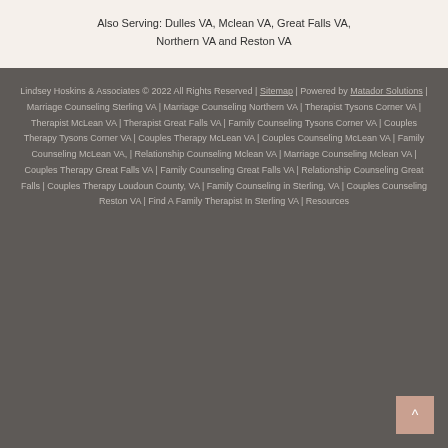Also Serving: Dulles VA, Mclean VA, Great Falls VA, Northern VA and Reston VA
Lindsey Hoskins & Associates © 2022 All Rights Reserved | Sitemap | Powered by Matador Solutions | Marriage Counseling Sterling VA | Marriage Counseling Northern VA | Therapist Tysons Corner VA | Therapist McLean VA | Therapist Great Falls VA | Family Counseling Tysons Corner VA | Couples Therapy Tysons Corner VA | Couples Therapy McLean VA | Couples Counseling McLean VA | Family Counseling McLean VA, | Relationship Counseling Mclean VA | Marriage Counseling Mclean VA | Couples Therapy Great Falls VA | Family Counseling Great Falls VA | Relationship Counseling Great Falls | Couples Therapy Loudoun County, VA | Family Counseling in Sterling, VA | Couples Counseling Reston VA | Find A Family Therapist In Sterling VA | Resources